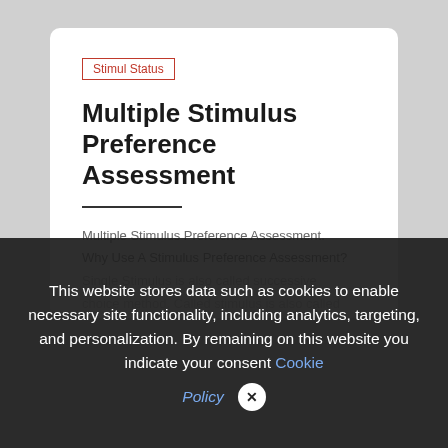Stimul Status
Multiple Stimulus Preference Assessment
Multiple Stimulus Preference Assessment.
Why Use A Stimulus Preference Assessment?
Single Stimulus is also called successive choice method. called stimulus also called the effective preference…
This website stores data such as cookies to enable necessary site functionality, including analytics, targeting, and personalization. By remaining on this website you indicate your consent Cookie Policy